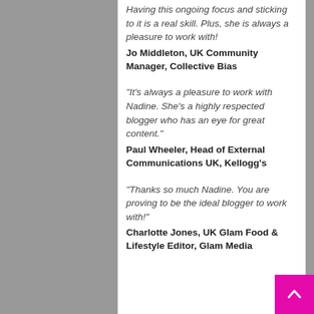Having this ongoing focus and sticking to it is a real skill. Plus, she is always a pleasure to work with!
Jo Middleton, UK Community Manager, Collective Bias
“It’s always a pleasure to work with Nadine. She’s a highly respected blogger who has an eye for great content.”
Paul Wheeler, Head of External Communications UK, Kellogg’s
“Thanks so much Nadine. You are proving to be the ideal blogger to work with!”
Charlotte Jones, UK Glam Food & Lifestyle Editor, Glam Media